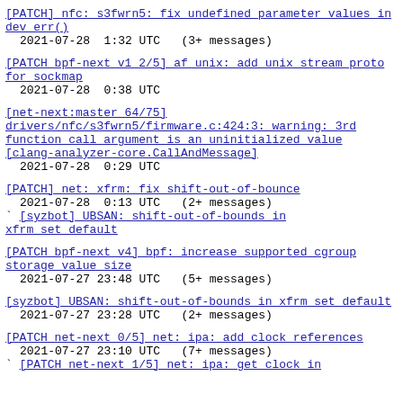[PATCH] nfc: s3fwrn5: fix undefined parameter values in dev_err()
 2021-07-28  1:32 UTC  (3+ messages)
[PATCH bpf-next v1 2/5] af unix: add unix stream proto for sockmap
 2021-07-28  0:38 UTC
[net-next:master 64/75] drivers/nfc/s3fwrn5/firmware.c:424:3: warning: 3rd function call argument is an uninitialized value [clang-analyzer-core.CallAndMessage]
 2021-07-28  0:29 UTC
[PATCH] net: xfrm: fix shift-out-of-bounce
 2021-07-28  0:13 UTC  (2+ messages)
` [syzbot] UBSAN: shift-out-of-bounds in xfrm_set_default
[PATCH bpf-next v4] bpf: increase supported cgroup storage value size
 2021-07-27 23:48 UTC  (5+ messages)
[syzbot] UBSAN: shift-out-of-bounds in xfrm set default
 2021-07-27 23:28 UTC  (2+ messages)
[PATCH net-next 0/5] net: ipa: add clock references
 2021-07-27 23:10 UTC  (7+ messages)
` [PATCH net-next 1/5] net: ipa: get clock in